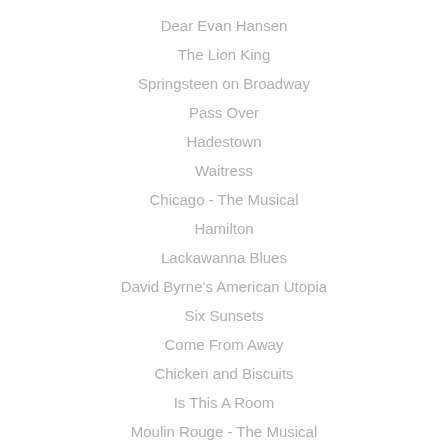Dear Evan Hansen
The Lion King
Springsteen on Broadway
Pass Over
Hadestown
Waitress
Chicago - The Musical
Hamilton
Lackawanna Blues
David Byrne's American Utopia
Six Sunsets
Come From Away
Chicken and Biscuits
Is This A Room
Moulin Rouge - The Musical
The Lehman Trilogy
Aladdin
Dana H. - Play
Thoughts of a Colored Man